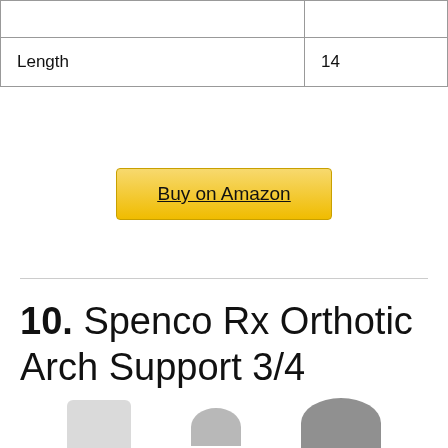|  |  |
| Length | 14 |
Buy on Amazon
10. Spenco Rx Orthotic Arch Support 3/4 Length Shoe Insoles, Women's 9-10.5/Men's 8-9.5
[Figure (photo): Partial view of shoe insole product images at bottom of page]